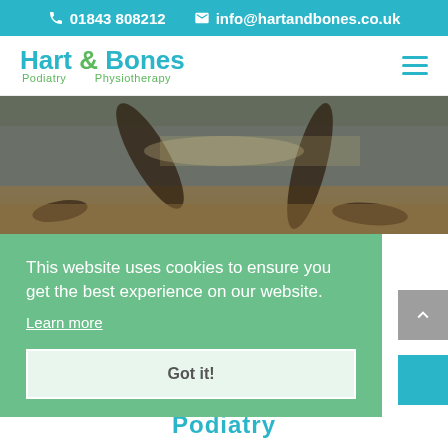📞 01843 808212  ✉ info@hartandbones.co.uk
[Figure (logo): Hart & Bones Podiatry & Physiotherapy logo with teal and green text]
[Figure (photo): Person doing yoga or stretching on a mat near water, bare feet visible]
This website uses cookies to ensure you get the best experience on our website.
Learn more
Got it!
Podiatry